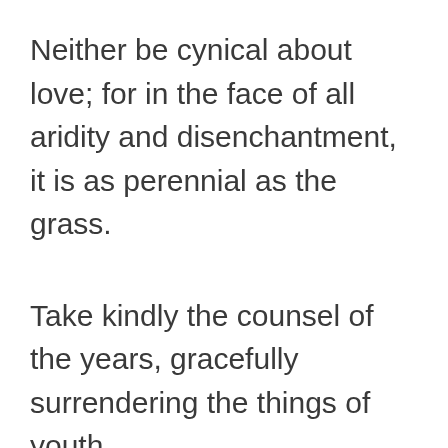Neither be cynical about love; for in the face of all aridity and disenchantment, it is as perennial as the grass.
Take kindly the counsel of the years, gracefully surrendering the things of youth.
Nurture strength of spirit to shield you in